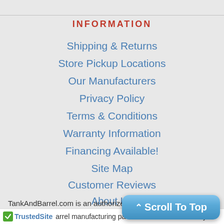INFORMATION
Shipping & Returns
Store Pickup Locations
Our Manufacturers
Privacy Policy
Terms & Conditions
Warranty Information
Financing Available!
Site Map
Customer Reviews
About Us
Contact Us
ABOUT US
TankAndBarrel.com is an authorized dealer for all of our barrel manufacturing partners. We have the ability
[Figure (other): Scroll To Top button (blue rounded rectangle with upward chevron)]
[Figure (logo): TrustedSite checkmark logo]